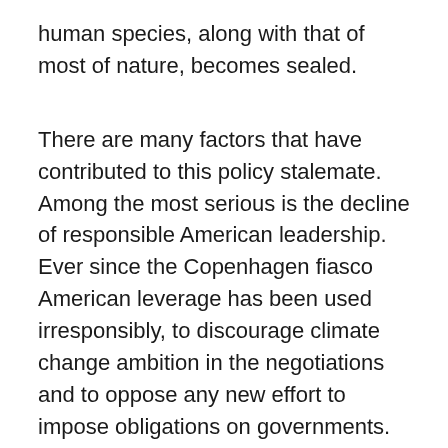human species, along with that of most of nature, becomes sealed.
There are many factors that have contributed to this policy stalemate. Among the most serious is the decline of responsible American leadership. Ever since the Copenhagen fiasco American leverage has been used irresponsibly, to discourage climate change ambition in the negotiations and to oppose any new effort to impose obligations on governments. In an atmosphere where adverse national interests and perceptions were difficult enough to overcome, the United States in effect insisted that constraining their pursuit was not politically feasible or desirable. Stymied by a political atmosphere in Washington that is hostile to international commitments of